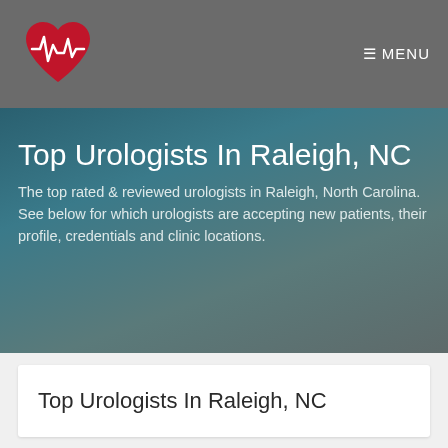☰ MENU
Top Urologists In Raleigh, NC
The top rated & reviewed urologists in Raleigh, North Carolina. See below for which urologists are accepting new patients, their profile, credentials and clinic locations.
Top Urologists In Raleigh, NC